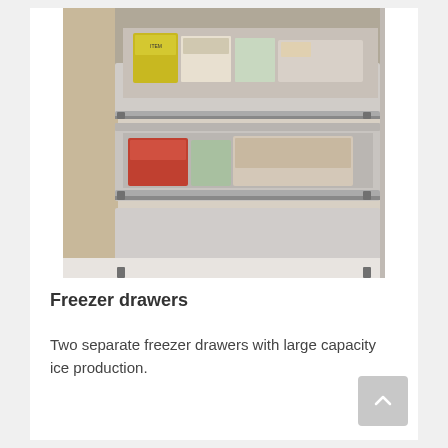[Figure (photo): Open freezer drawers on a refrigerator showing two pull-out stainless steel drawers filled with frozen food items and packages.]
Freezer drawers
Two separate freezer drawers with large capacity ice production.